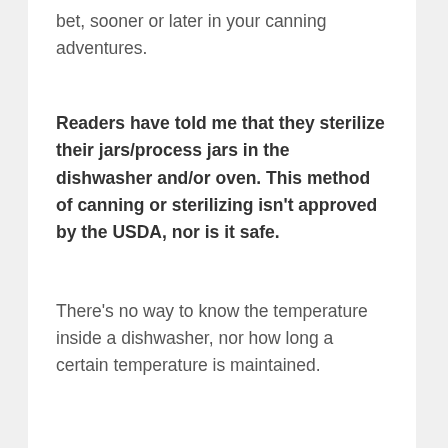bet, sooner or later in your canning adventures.
Readers have told me that they sterilize their jars/process jars in the dishwasher and/or oven. This method of canning or sterilizing isn't approved by the USDA, nor is it safe.
There's no way to know the temperature inside a dishwasher, nor how long a certain temperature is maintained.